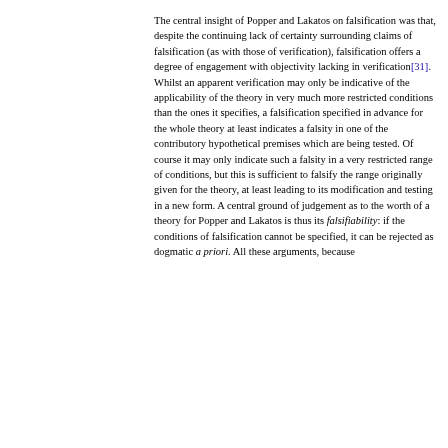contend. The central insight of Popper and Lakatos on falsification was that, despite the continuing lack of certainty surrounding claims of falsification (as with those of verification), falsification offers a degree of engagement with objectivity lacking in verification[31]. Whilst an apparent verification may only be indicative of the applicability of the theory in very much more restricted conditions than the ones it specifies, a falsification specified in advance for the whole theory at least indicates a falsity in one of the contributory hypothetical premises which are being tested. Of course it may only indicate such a falsity in a very restricted range of conditions, but this is sufficient to falsify the range originally given for the theory, at least leading to its modification and testing in a new form. A central ground of judgement as to the worth of a theory for Popper and Lakatos is thus its falsifiability: if the conditions of falsification cannot be specified, it can be rejected as dogmatic a priori. All these arguments, because